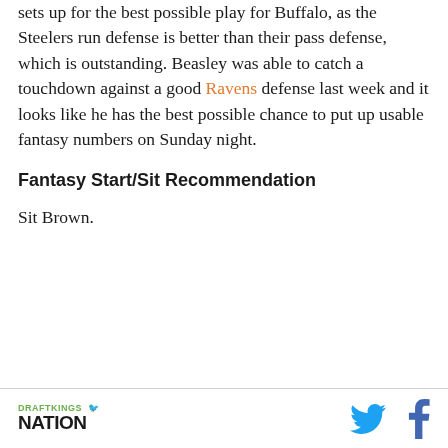sets up for the best possible play for Buffalo, as the Steelers run defense is better than their pass defense, which is outstanding. Beasley was able to catch a touchdown against a good Ravens defense last week and it looks like he has the best possible chance to put up usable fantasy numbers on Sunday night.
Fantasy Start/Sit Recommendation
Sit Brown.
DRAFTKINGS NATION